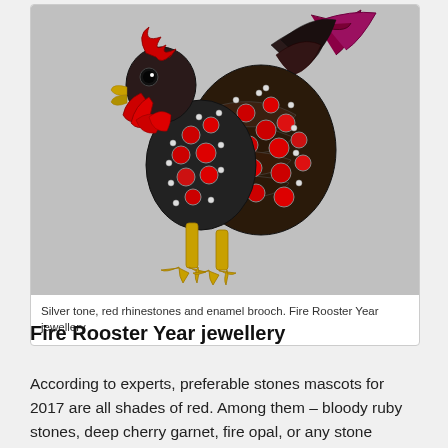[Figure (photo): A decorative brooch in the shape of a rooster. Silver tone metal with red rhinestones and red enamel details, gold-colored legs and feet. The rooster is highly detailed with jeweled body, red comb and wattle, set against a light gray background.]
Silver tone, red rhinestones and enamel brooch. Fire Rooster Year jewellery
Fire Rooster Year jewellery
According to experts, preferable stones mascots for 2017 are all shades of red. Among them – bloody ruby stones, deep cherry garnet, fire opal, or any stone associated with fire. For example, volcanic glass